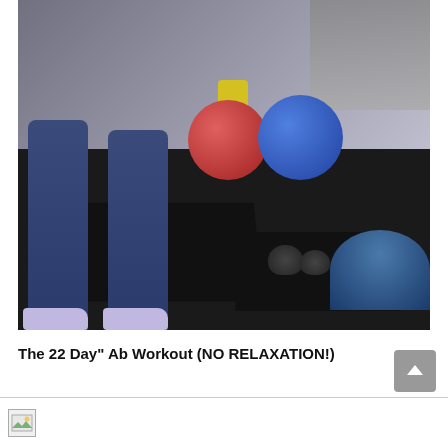[Figure (photo): A gym scene showing a person from the waist down wearing blue leggings and white sneakers, standing in a wide stance. In the background are exercise balls (red and blue), a yellow piece of equipment, kettlebells on the floor, a BOSU ball on the right, and gym equipment/racks in the upper right.]
The 22 Day" Ab Workout (NO RELAXATION!)
[Figure (photo): Small image thumbnail placeholder at the bottom of the page]